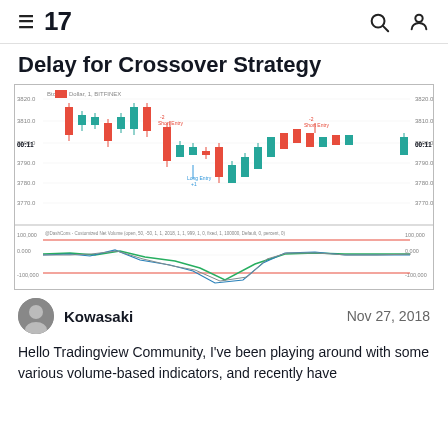TradingView
Delay for Crossover Strategy
[Figure (screenshot): TradingView candlestick chart showing Bitcoin/Dollar 1-minute BITFINEX chart with short and long entry signals, and a lower panel showing Balanced Net Volume indicator with green, blue, and red horizontal threshold lines.]
Kowasaki   Nov 27, 2018
Hello Tradingview Community, I've been playing around with some various volume-based indicators, and recently have